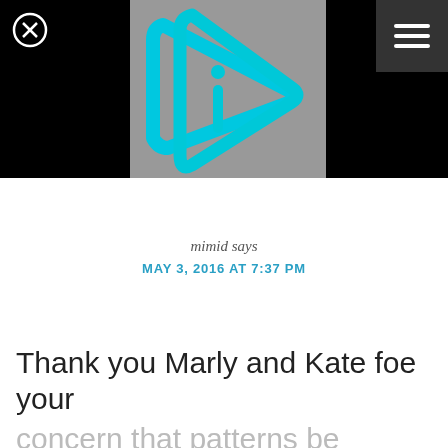[Figure (logo): Black header bar with a gray rectangle containing a cyan/turquoise stylized play button with an 'i' inside, a close (X) button circle on the left, and a hamburger menu icon on the right]
mimid says
MAY 3, 2016 AT 7:37 PM
Thank you Marly and Kate foe your concern that patterns be written in such